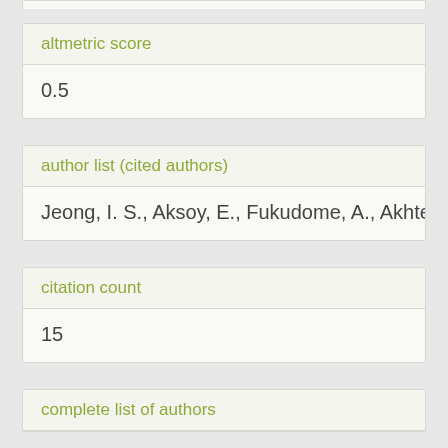altmetric score
0.5
author list (cited authors)
Jeong, I. S., Aksoy, E., Fukudome, A., Akhter, S., H
citation count
15
complete list of authors